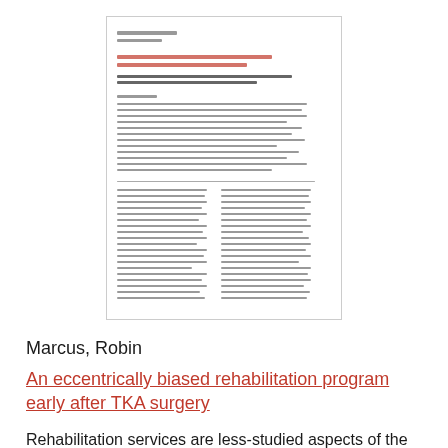[Figure (other): Thumbnail preview of a journal article page showing title, authors, abstract text and two-column body text]
Marcus, Robin
An eccentrically biased rehabilitation program early after TKA surgery
Rehabilitation services are less-studied aspects of the management following total knee arthroplasty (TKA) despite long-term suboptimal physical functioning and chronic deficits in muscle function. This paper describes the preliminary findings of a six-week (12 session) eccentrically-biased rehabili...
2011